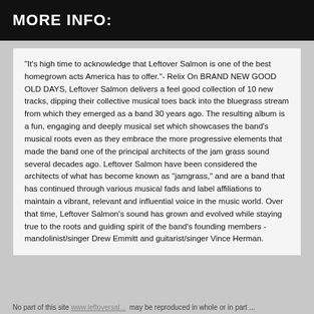MORE INFO:
"It's high time to acknowledge that Leftover Salmon is one of the best homegrown acts America has to offer."- Relix On BRAND NEW GOOD OLD DAYS, Leftover Salmon delivers a feel good collection of 10 new tracks, dipping their collective musical toes back into the bluegrass stream from which they emerged as a band 30 years ago. The resulting album is a fun, engaging and deeply musical set which showcases the band's musical roots even as they embrace the more progressive elements that made the band one of the principal architects of the jam grass sound several decades ago. Leftover Salmon have been considered the architects of what has become known as "jamgrass," and are a band that has continued through various musical fads and label affiliations to maintain a vibrant, relevant and influential voice in the music world. Over that time, Leftover Salmon's sound has grown and evolved while staying true to the roots and guiding spirit of the band's founding members - mandolinist/singer Drew Emmitt and guitarist/singer Vince Herman.
No part of this site ... may be reproduced in whole or in part ...